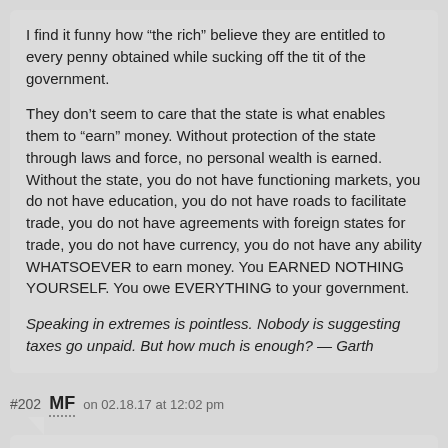I find it funny how “the rich” believe they are entitled to every penny obtained while sucking off the tit of the government.
They don’t seem to care that the state is what enables them to “earn” money. Without protection of the state through laws and force, no personal wealth is earned. Without the state, you do not have functioning markets, you do not have education, you do not have roads to facilitate trade, you do not have agreements with foreign states for trade, you do not have currency, you do not have any ability WHATSOEVER to earn money. You EARNED NOTHING YOURSELF. You owe EVERYTHING to your government.
Speaking in extremes is pointless. Nobody is suggesting taxes go unpaid. But how much is enough? — Garth
#202 MF on 02.18.17 at 12:02 pm
#191 Stock Picker on 02.18.17 at 11:14 am
Ah no.
How about the doc (whose education was highly subsidized by the evil